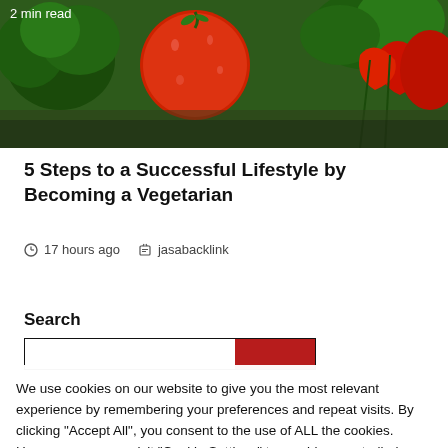[Figure (photo): Overhead view of fresh vegetables including broccoli, tomatoes, red peppers, and herbs with water droplets]
2 min read
5 Steps to a Successful Lifestyle by Becoming a Vegetarian
17 hours ago   jasabacklink
Search
We use cookies on our website to give you the most relevant experience by remembering your preferences and repeat visits. By clicking "Accept All", you consent to the use of ALL the cookies. However, you may visit "Cookie Settings" to provide a controlled consent.